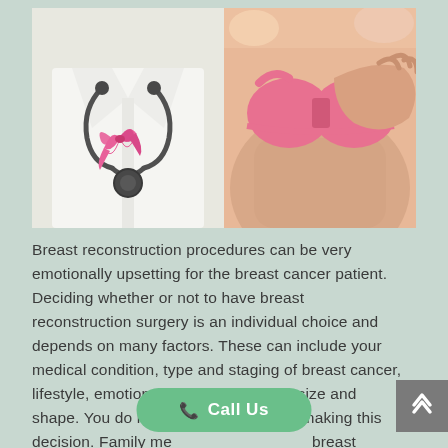[Figure (photo): Two-panel medical photo: left panel shows a doctor in white coat with stethoscope and pink breast cancer awareness ribbon; right panel shows a woman in pink bra touching her chest]
Breast reconstruction procedures can be very emotionally upsetting for the breast cancer patient. Deciding whether or not to have breast reconstruction surgery is an individual choice and depends on many factors. These can include your medical condition, type and staging of breast cancer, lifestyle, emotional stress, and breast size and shape. You do not have to be alone in making this decision. Family members, friends, and breast cancer support groups are there for you.